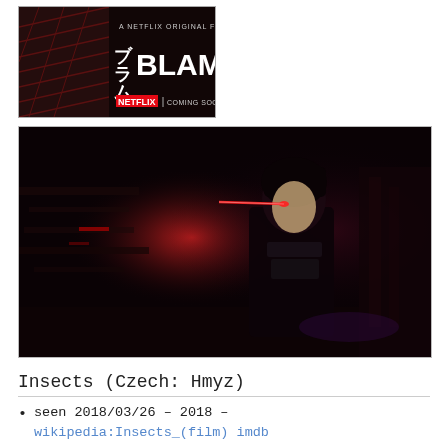[Figure (photo): BLAME! Netflix Original Film promotional poster with Japanese characters, Netflix logo, and 'Coming Soon' text on dark patterned background]
[Figure (screenshot): Anime screenshot from BLAME! showing a dark-haired character in black armor with red glowing eye/laser in a dark industrial setting with machinery and cables]
Insects (Czech: Hmyz)
seen 2018/03/26 – 2018 – wikipedia:Insects_(film) imdb
Nova – bxls, animation, mixed with